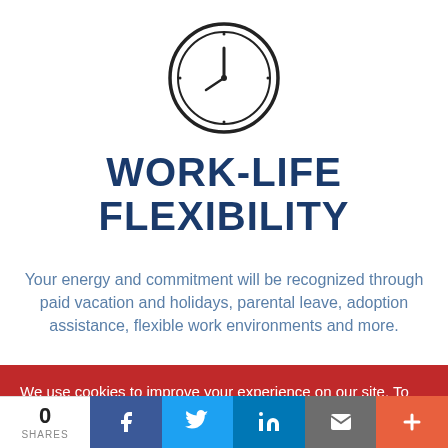[Figure (illustration): Clock icon outline showing approximately 12:56 time, minimal line art style]
WORK-LIFE FLEXIBILITY
Your energy and commitment will be recognized through paid vacation and holidays, parental leave, adoption assistance, flexible work environments and more.
We use cookies to improve your experience on our site. To find out more, read our privacy policy.
0 SHARES